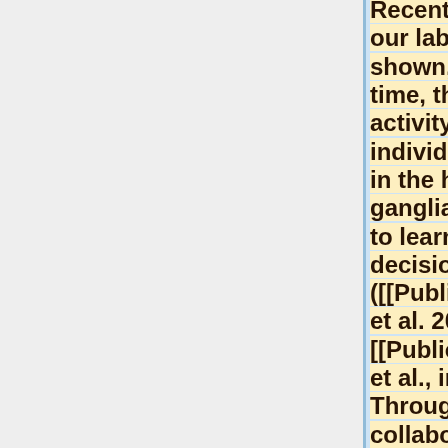Recent studies in our lab have shown, for the first time, that the activity of individual neurons in the human basal ganglia are related to learning and decision making ([[Publications#ZaghEtal09|Zaghloul et al. 2009]], [[Publications#ZaghEtal12|Zaghloul et al., in press]]). Through clinical collaborations,